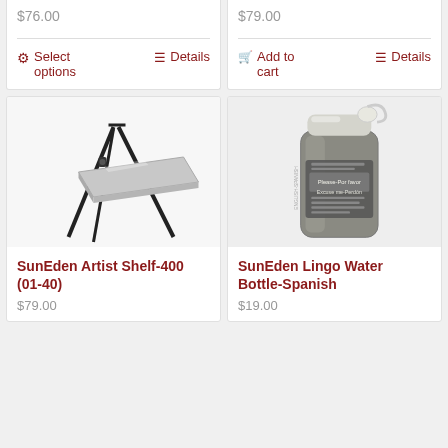$76.00
Select options
Details
$79.00
Add to cart
Details
[Figure (photo): SunEden Artist Shelf-400 (01-40) - a metal shelf/tray mounted on a tripod easel stand, shown on white background]
SunEden Artist Shelf-400 (01-40)
$79.00
[Figure (photo): SunEden Lingo Water Bottle-Spanish - a translucent dark gray/brown Nalgene-style water bottle with a white cap and a label showing English-Spanish phrases including 'Please-Por favor' and 'Excuse me-Perdon']
SunEden Lingo Water Bottle-Spanish
$19.00